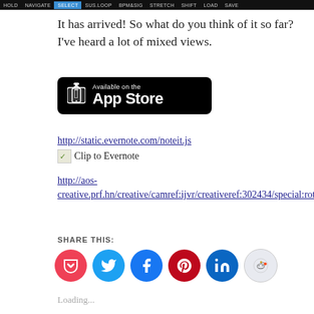[Figure (screenshot): Toolbar with buttons: HOLD, NAVIGATE, SELECT (highlighted blue), SUS.LOOP, BPM&SIG, STRETCH, SHIFT, LOAD, SAVE]
It has arrived! So what do you think of it so far? I've heard a lot of mixed views.
[Figure (logo): Available on the App Store badge — black rounded rectangle with iPhone icon, text 'Available on the' and 'App Store']
http://static.evernote.com/noteit.js
Clip to Evernote
http://aos-creative.prf.hn/creative/camref:ijvr/creativeref:302434/special:rotate
SHARE THIS:
[Figure (infographic): Six social share icon circles: Pocket (red), Twitter (light blue), Facebook (blue), Pinterest (dark red), LinkedIn (dark blue), Reddit (light grey)]
Loading...